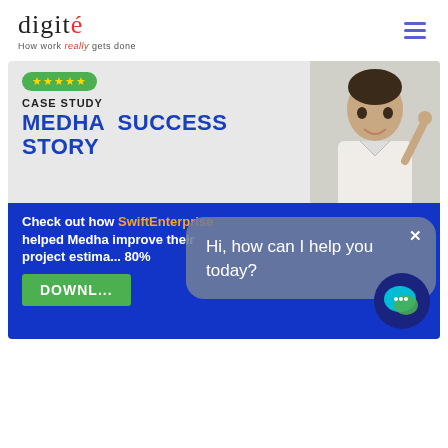[Figure (logo): Digite logo — stylized text 'digité' with red accent on the é, tagline 'How work really gets done']
[Figure (illustration): Hamburger/menu icon with three horizontal lines in purple/indigo color]
[Figure (infographic): Case study banner ad for 'Medha Success Story'. Top gray section shows 5-star badge, 'CASE STUDY' label, 'MEDHA SUCCESS STORY' title in blue, with photo of smiling man. Bottom blue section has text: 'Check out how SwiftEnterprise helped Medha improve their project estimation by 80%' and a green DOWNLOAD button. A chatbot popup overlays the bottom-right with 'Hi, how can I help you today?' message and a close X button.]